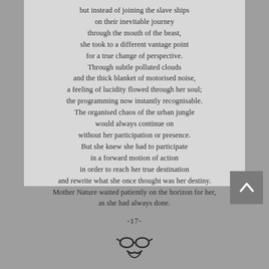but instead of joining the slave ships
on their inevitable journey
through the mouth of the beast,
she took to a different vantage point
for a true change of perspective.
Through subtle polluted clouds
and the thick blanket of motorised noise,
a feeling of lucidity flowed through her soul;
the programming now instantly recognisable.
The organised chaos of the urban jungle
would always continue on
without her participation or presence.
But she knew she had to participate
in a forward motion of action
in order to reach her true destination
and rewrite what she once thought was her destiny.
Mother Nature waited patiently on the horizon for her,
as she had always done.
-17-
[Figure (illustration): A simple cartoon face illustration with round glasses and a mustache/beard]